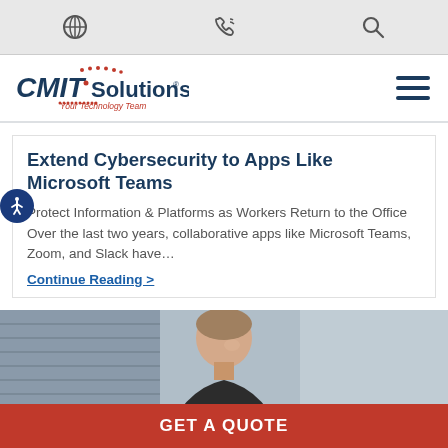CMIT Solutions - Your Technology Team
Extend Cybersecurity to Apps Like Microsoft Teams
Protect Information & Platforms as Workers Return to the Office Over the last two years, collaborative apps like Microsoft Teams, Zoom, and Slack have…
Continue Reading >
[Figure (photo): A man in a dark jacket looking to the side, blurred office background with blinds]
GET A QUOTE